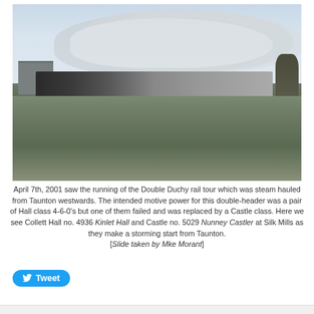[Figure (photo): Black and white photograph of two steam locomotives pulling a long passenger train across a flat rural landscape near Silk Mills, Taunton. A massive billowing cloud of steam and smoke rises dramatically above the train. Open fields in the foreground, farm buildings on the left, bare trees on the right, overcast sky above.]
April 7th, 2001 saw the running of the Double Duchy rail tour which was steam hauled from Taunton westwards. The intended motive power for this double-header was a pair of Hall class 4-6-0's but one of them failed and was replaced by a Castle class. Here we see Collett Hall no. 4936 Kinlet Hall and Castle no. 5029 Nunney Castler at Silk Mills as they make a storming start from Taunton.
[Slide taken by Mke Morant]